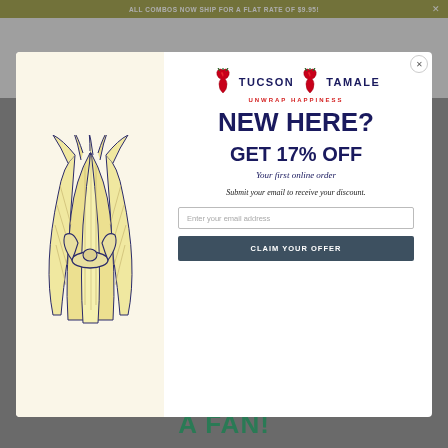ALL COMBOS NOW SHIP FOR A FLAT RATE OF $9.95!
[Figure (illustration): Tucson Tamale logo with corn husk illustration and text 'UNWRAP HAPPINESS']
NEW HERE?
GET 17% OFF
Your first online order
Submit your email to receive your discount.
Enter your email address
CLAIM YOUR OFFER
A FAN!